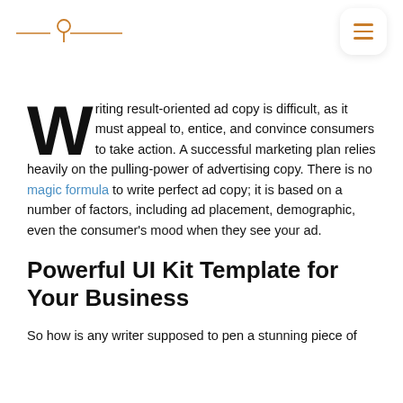[Logo mark with location pin icon and horizontal lines]
Writing result-oriented ad copy is difficult, as it must appeal to, entice, and convince consumers to take action. A successful marketing plan relies heavily on the pulling-power of advertising copy. There is no magic formula to write perfect ad copy; it is based on a number of factors, including ad placement, demographic, even the consumer's mood when they see your ad.
Powerful UI Kit Template for Your Business
So how is any writer supposed to pen a stunning piece of ad copy that converts as many leads as possible? The